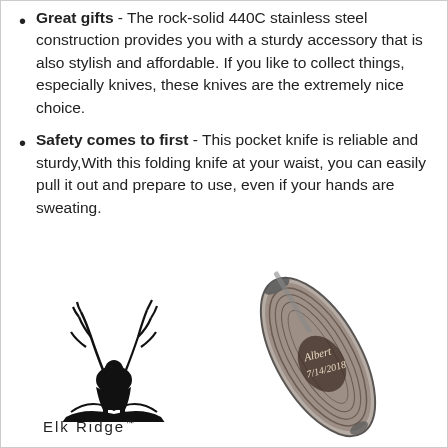Great gifts - The rock-solid 440C stainless steel construction provides you with a sturdy accessory that is also stylish and affordable. If you like to collect things, especially knives, these knives are the extremely nice choice.
Safety comes to first - This pocket knife is reliable and sturdy,With this folding knife at your waist, you can easily pull it out and prepare to use, even if your hands are sweating.
[Figure (logo): Elk Ridge brand logo with elk antler illustration and text 'Elk Ridge']
[Figure (photo): Personalized folding pocket knife with woodgrain handle engraved with 'Albert 7/14/2018']